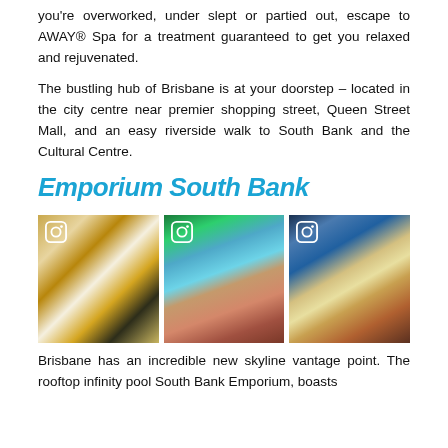you're overworked, under slept or partied out, escape to AWAY® Spa for a treatment guaranteed to get you relaxed and rejuvenated.
The bustling hub of Brisbane is at your doorstep – located in the city centre near premier shopping street, Queen Street Mall, and an easy riverside walk to South Bank and the Cultural Centre.
Emporium South Bank
[Figure (photo): Three Instagram-style photos showing hotel interior, rooftop pool area with sun loungers, and rooftop infinity pool with city skyline view]
Brisbane has an incredible new skyline vantage point. The rooftop infinity pool South Bank Emporium, boasts